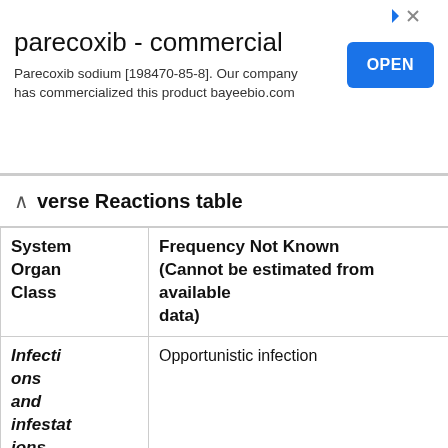[Figure (other): Advertisement banner for parecoxib commercial product. Title: 'parecoxib - commercial'. Description: 'Parecoxib sodium [198470-85-8]. Our company has commercialized this product bayeebio.com'. Blue OPEN button on right.]
Adverse Reactions table
| System Organ Class | Frequency Not Known (Cannot be estimated from available data) |
| --- | --- |
| Infections and infestations | Opportunistic infection |
| Neoplasms |  |